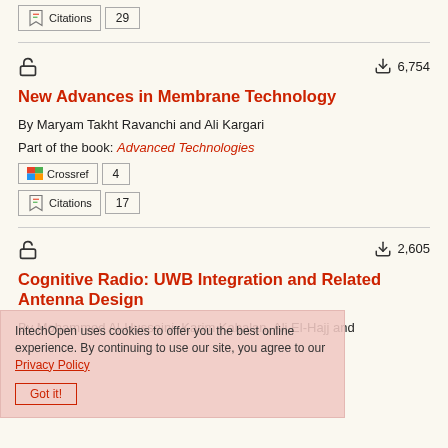[Figure (other): Citations badge with count 29]
New Advances in Membrane Technology
By Maryam Takht Ravanchi and Ali Kargari
Part of the book: Advanced Technologies
[Figure (other): Crossref badge with count 4]
[Figure (other): Citations badge with count 17]
2,605 downloads
Cognitive Radio: UWB Integration and Related Antenna Design
By Mohammed Al-Husseini, Karim Kabalan, Ali El-Hajj and
IntechOpen uses cookies to offer you the best online experience. By continuing to use our site, you agree to our Privacy Policy